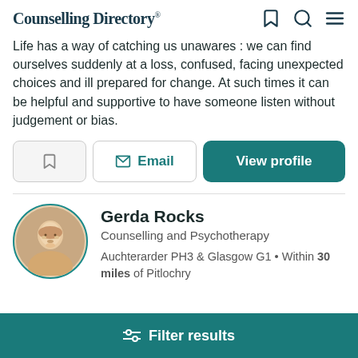Counselling Directory
Life has a way of catching us unawares : we can find ourselves suddenly at a loss, confused, facing unexpected choices and ill prepared for change. At such times it can be helpful and supportive to have someone listen without judgement or bias.
Email | View profile
Gerda Rocks
Counselling and Psychotherapy
Auchterarder PH3 & Glasgow G1 • Within 30 miles of Pitlochry
Filter results